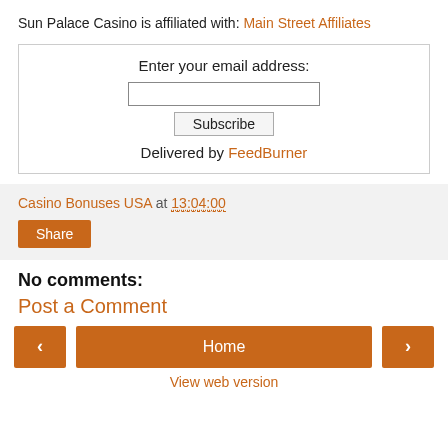Sun Palace Casino is affiliated with: Main Street Affiliates
[Figure (screenshot): Email subscription widget with input field, Subscribe button, and 'Delivered by FeedBurner' text]
Casino Bonuses USA at 13:04:00
Share
No comments:
Post a Comment
Home
View web version